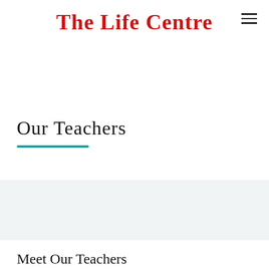The Life Centre
Our Teachers
Meet Our Teachers